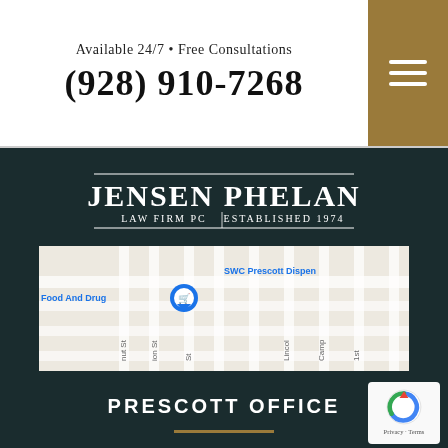Available 24/7 • Free Consultations
(928) 910-7268
[Figure (logo): Jensen Phelan Law Firm PC Established 1974 logo in white serif text with horizontal rules]
[Figure (map): Google Maps screenshot showing streets near 711 Whipple Street, Prescott AZ, with map marker pin, showing Food And Drug label and SWC Prescott Dispensary label]
PRESCOTT OFFICE
711 Whipple Street
Prescott, Arizona
86301-1717